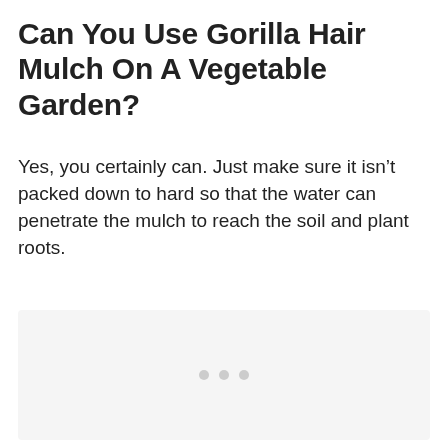Can You Use Gorilla Hair Mulch On A Vegetable Garden?
Yes, you certainly can. Just make sure it isn't packed down to hard so that the water can penetrate the mulch to reach the soil and plant roots.
[Figure (other): Placeholder image area with three dots indicating loading or ad slot]